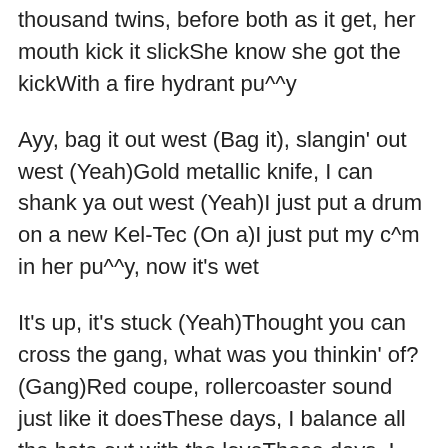thousand twins, before both as it get, her mouth kick it slickShe know she got the kickWith a fire hydrant pu^^y
Ayy, bag it out west (Bag it), slangin' out west (Yeah)Gold metallic knife, I can shank ya out west (Yeah)I just put a drum on a new Kel-Tec (On a)I just put my c^m in her pu^^y, now it's wet
It's up, it's stuck (Yeah)Thought you can cross the gang, what was you thinkin' of? (Gang)Red coupe, rollercoaster sound just like it doesThese days, I balance all the hate out with the loveThese days, I pour all of my